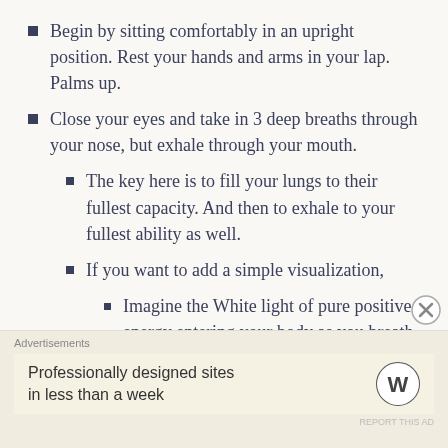Begin by sitting comfortably in an upright position. Rest your hands and arms in your lap. Palms up.
Close your eyes and take in 3 deep breaths through your nose, but exhale through your mouth.
The key here is to fill your lungs to their fullest capacity. And then to exhale to your fullest ability as well.
If you want to add a simple visualization,
Imagine the White light of pure positive energy entering your body as you breath in through your nose. Imagine this energy pushing the negative stress out of your body. You can think of it as a bulldozer, a force field or tractor beam
Advertisements
Professionally designed sites in less than a week